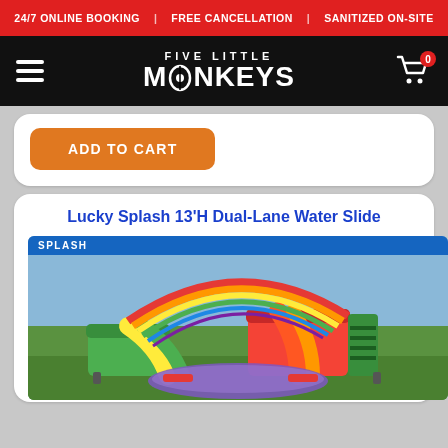24/7 ONLINE BOOKING | FREE CANCELLATION | SANITIZED ON-SITE
[Figure (logo): Five Little Monkeys logo with hamburger menu on black navigation bar and shopping cart icon with badge showing 0]
ADD TO CART
Lucky Splash 13'H Dual-Lane Water Slide
[Figure (photo): Colorful inflatable dual-lane water slide with rainbow arch, green and red/yellow slides, purple splash pool at bottom, on grass. Blue banner at top reads SPLASH.]